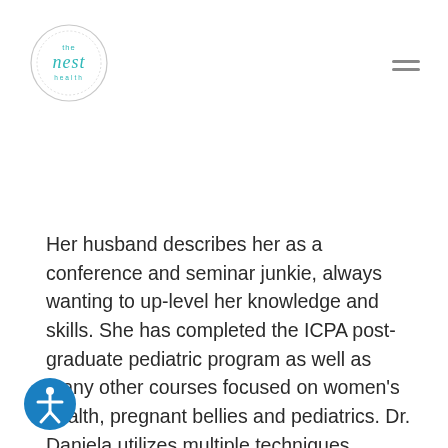The Nest Health logo and navigation menu
Her husband describes her as a conference and seminar junkie, always wanting to up-level her knowledge and skills. She has completed the ICPA post-graduate pediatric program as well as many other courses focused on women's health, pregnant bellies and pediatrics. Dr. Daniela utilizes multiple techniques including Diversified, Thompson Drop, Activator, Logan and Torque Release Techniques. She is also certified in the Webster technique (for pregnant women).
When not working on her passion project (empowering women at The Nest), she spends her time with her husband & their two young children, Sophia & Michael – always